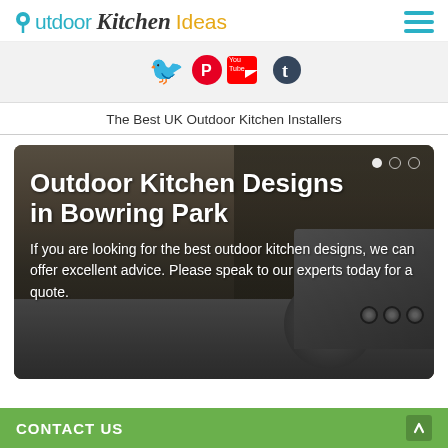Outdoor Kitchen Ideas
[Figure (infographic): Social media icons: Twitter, Pinterest, YouTube, Tumblr on a light grey bar]
The Best UK Outdoor Kitchen Installers
[Figure (photo): Outdoor kitchen setup with grill and stone countertops. Text overlay reads: Outdoor Kitchen Designs in Bowring Park. If you are looking for the best outdoor kitchen designs, we can offer excellent advice. Please speak to our experts today for a quote.]
Outdoor Kitchen Designs in Bowring Park
If you are looking for the best outdoor kitchen designs, we can offer excellent advice. Please speak to our experts today for a quote.
CONTACT US